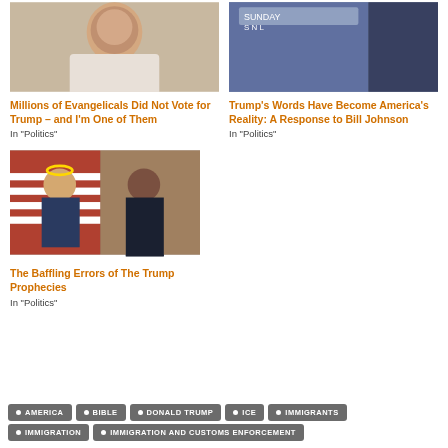[Figure (photo): Portrait photo of a man with short hair, smiling, wearing a light-colored shirt]
Millions of Evangelicals Did Not Vote for Trump – and I'm One of Them
In "Politics"
[Figure (photo): Photo of Donald Trump looking stern, with another person in blue shirt in background]
Trump's Words Have Become America's Reality: A Response to Bill Johnson
In "Politics"
[Figure (photo): Photo of Trump with golden halo standing next to Obama in formal wear with American flags]
The Baffling Errors of The Trump Prophecies
In "Politics"
AMERICA
BIBLE
DONALD TRUMP
ICE
IMMIGRANTS
IMMIGRATION
IMMIGRATION AND CUSTOMS ENFORCEMENT